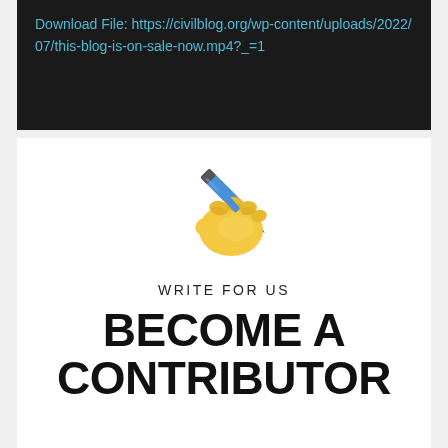Download File: https://civilblog.org/wp-content/uploads/2022/07/this-blog-is-on-sale-now.mp4?_=1
[Figure (illustration): Emoji of a yellow hand holding a blue pen/pencil, writing]
WRITE FOR US
BECOME A CONTRIBUTOR